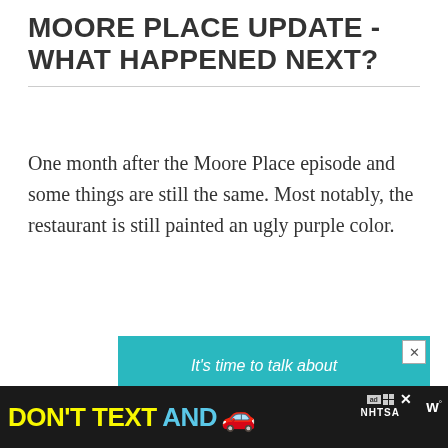MOORE PLACE UPDATE - WHAT HAPPENED NEXT?
One month after the Moore Place episode and some things are still the same. Most notably, the restaurant is still painted an ugly purple color.
[Figure (infographic): Advertisement: Teal/aqua background with white text reading 'It's time to talk about Alzheimer's.' with a 'LEARN MORE' button and 'alz.org/ourstories' URL. Cartoon illustration of two elderly people at bottom.]
[Figure (infographic): Bottom banner advertisement on dark background: 'DON'T TEXT AND' in yellow and cyan bold text with a red car emoji, NHTSA ad-choice logo, and a W network logo at right.]